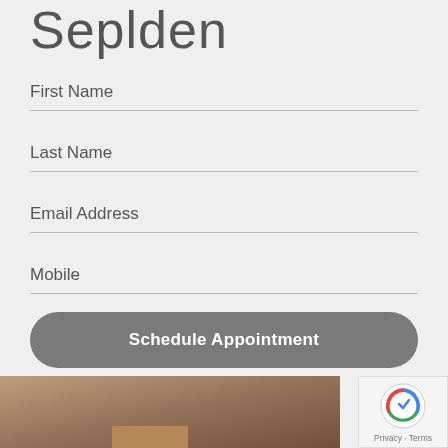Seplden
First Name
Last Name
Email Address
Mobile
Schedule Appointment
[Figure (photo): Partial photo of a person with brown/auburn hair visible at bottom of page]
[Figure (logo): reCAPTCHA badge with Privacy and Terms text]